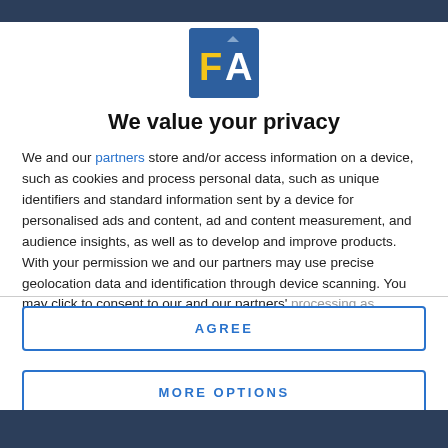[Figure (logo): FA logo — blue square with yellow letter F and white letter A]
We value your privacy
We and our partners store and/or access information on a device, such as cookies and process personal data, such as unique identifiers and standard information sent by a device for personalised ads and content, ad and content measurement, and audience insights, as well as to develop and improve products. With your permission we and our partners may use precise geolocation data and identification through device scanning. You may click to consent to our and our partners' processing as described above. Alternatively you may access more
AGREE
MORE OPTIONS